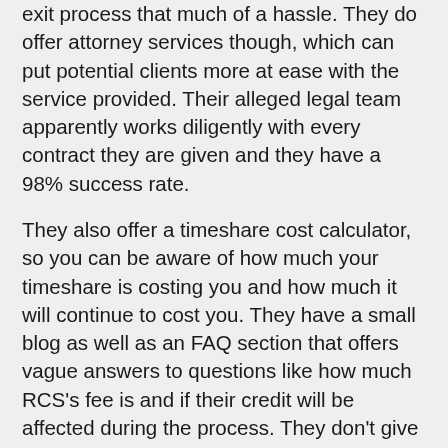exit process that much of a hassle. They do offer attorney services though, which can put potential clients more at ease with the service provided. Their alleged legal team apparently works diligently with every contract they are given and they have a 98% success rate.
They also offer a timeshare cost calculator, so you can be aware of how much your timeshare is costing you and how much it will continue to cost you. They have a small blog as well as an FAQ section that offers vague answers to questions like how much RCS's fee is and if their credit will be affected during the process. They don't give a definitive answer as to how much their services cost.
There is nothing particularly different or special about their website, it seems like the general